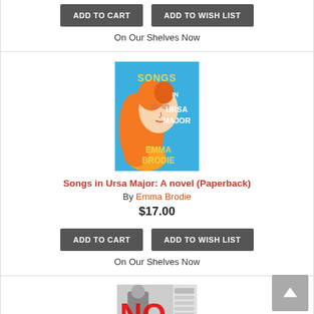ADD TO CART | ADD TO WISH LIST (buttons, top section)
On Our Shelves Now
[Figure (illustration): Book cover: Songs in Ursa Major by Emma Brodie. Blue background with psychedelic 1970s-style illustration of a woman with flowing orange hair, text reads SONGS IN URSA MAJOR EMMA BRODIE]
Songs in Ursa Major: A novel (Paperback)
By Emma Brodie
$17.00
ADD TO CART | ADD TO WISH LIST (buttons, mid section)
On Our Shelves Now
[Figure (illustration): Partial book cover visible at the bottom of the page, appears to be a black and white photo with large red text NO]